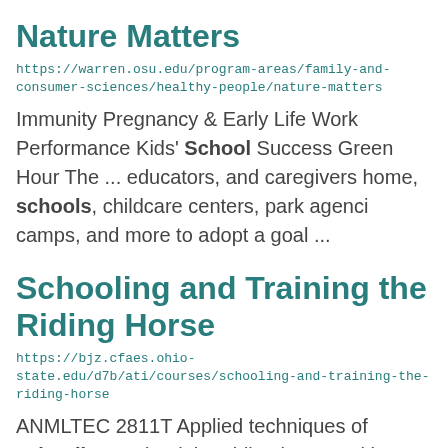Nature Matters
https://warren.osu.edu/program-areas/family-and-consumer-sciences/healthy-people/nature-matters
Immunity Pregnancy & Early Life Work Performance Kids' School Success Green Hour The ... educators, and caregivers home, schools, childcare centers, park agenci camps, and more to adopt a goal ...
Schooling and Training the Riding Horse
https://bjz.cfaes.ohio-state.edu/d7b/ati/courses/schooling-and-training-the-riding-horse
ANMLTEC 2811T Applied techniques of schooling and training riding horses with